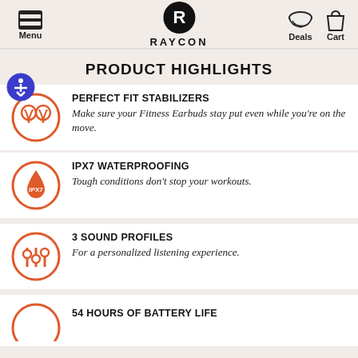Raycon — Menu, Deals, Cart navigation header
PRODUCT HIGHLIGHTS
PERFECT FIT STABILIZERS — Make sure your Fitness Earbuds stay put even while you're on the move.
IPX7 WATERPROOFING — Tough conditions don't stop your workouts.
3 SOUND PROFILES — For a personalized listening experience.
54 HOURS OF BATTERY LIFE